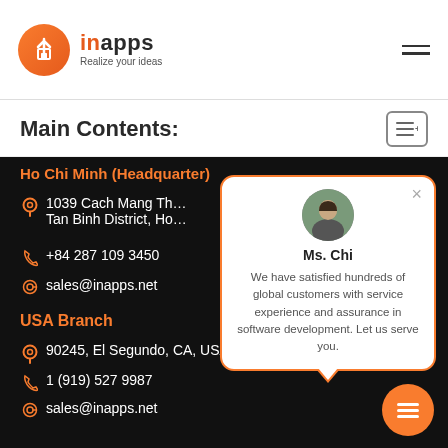[Figure (logo): InApps logo with orange circle icon and text 'inapps Realize your ideas']
Main Contents:
Ho Chi Minh (Headquarter)
1039 Cach Mang Th... Tan Binh District, Ho...
+84 287 109 3450
sales@inapps.net
USA Branch
90245, El Segundo, CA, USA
1 (919) 527 9987
sales@inapps.net
[Figure (illustration): Chat popup with avatar of Ms. Chi, name and message: We have satisfied hundreds of global customers with service experience and assurance in software development. Let us serve you.]